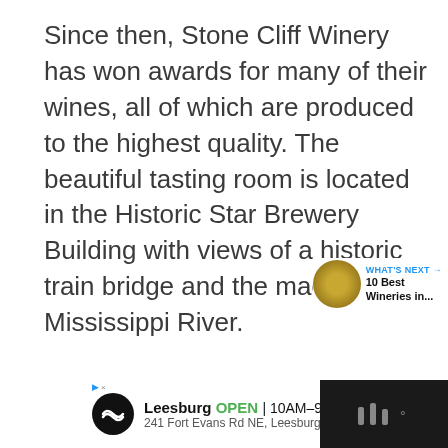Since then, Stone Cliff Winery has won awards for many of their wines, all of which are produced to the highest quality. The beautiful tasting room is located in the Historic Star Brewery Building with views of a historic train bridge and the magnificent Mississippi River.
[Figure (screenshot): UI elements: heart/like button (blue circle), count '1', share button, 'What's Next' panel with thumbnail and '10 Best Wineries in...' text]
[Figure (screenshot): Advertisement bar: Leesburg location, OPEN 10AM-9PM, 241 Fort Evans Rd NE Leesburg, with navigation arrow icon and dark right panel]